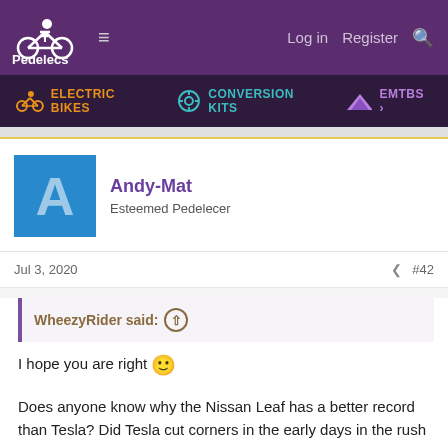[Figure (logo): Pedelecs website logo with bicycle icon on purple background]
Log in  Register  [search icon]
ELECTRIC BIKES  CONVERSION KITS  EMTBS
Andy-Mat
Esteemed Pedelecer
Jul 3, 2020    #42
WheezyRider said: ↑

I hope you are right 🙂

Does anyone know why the Nissan Leaf has a better record than Tesla? Did Tesla cut corners in the early days in the rush to get a product to the market?

The problem is when one does catch fire, what is the best way to put it